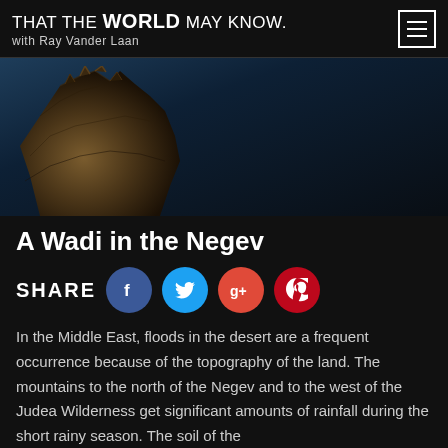THAT THE WORLD MAY KNOW. with Ray Vander Laan
[Figure (photo): Dark hero image with a silhouetted desert rock formation against a dark blue-grey gradient background representing the Negev desert landscape]
A Wadi in the Negev
SHARE
In the Middle East, floods in the desert are a frequent occurrence because of the topography of the land. The mountains to the north of the Negev and to the west of the Judea Wilderness get significant amounts of rainfall during the short rainy season. The soil of the